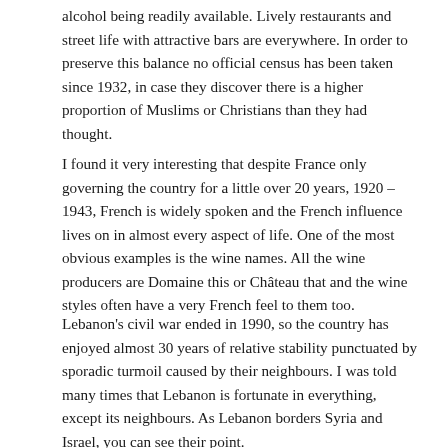alcohol being readily available. Lively restaurants and street life with attractive bars are everywhere. In order to preserve this balance no official census has been taken since 1932, in case they discover there is a higher proportion of Muslims or Christians than they had thought.
I found it very interesting that despite France only governing the country for a little over 20 years, 1920 – 1943, French is widely spoken and the French influence lives on in almost every aspect of life. One of the most obvious examples is the wine names. All the wine producers are Domaine this or Château that and the wine styles often have a very French feel to them too.
Lebanon's civil war ended in 1990, so the country has enjoyed almost 30 years of relative stability punctuated by sporadic turmoil caused by their neighbours. I was told many times that Lebanon is fortunate in everything, except its neighbours. As Lebanon borders Syria and Israel, you can see their point.